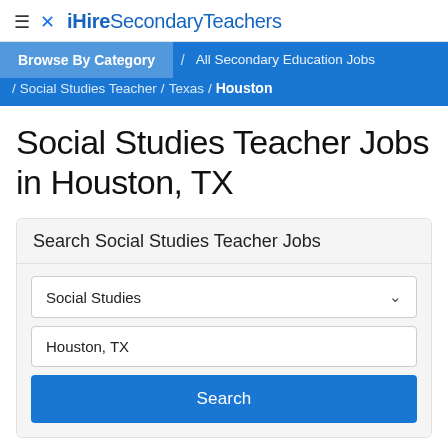≡ ✕ iHire Secondary Teachers
Browse By Category / All Secondary Education Jobs / Social Studies Teacher / Texas / Houston
Social Studies Teacher Jobs in Houston, TX
Search Social Studies Teacher Jobs
Social Studies
Houston, TX
Search